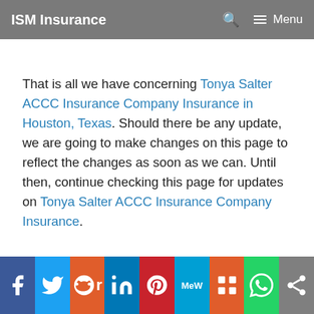ISM Insurance  🔍  ≡ Menu
That is all we have concerning Tonya Salter ACCC Insurance Company Insurance in Houston, Texas. Should there be any update, we are going to make changes on this page to reflect the changes as soon as we can. Until then, continue checking this page for updates on Tonya Salter ACCC Insurance Company Insurance.
[Figure (other): Social media sharing bar with icons for Facebook, Twitter, Reddit, LinkedIn, Pinterest, MeWe, Mix, WhatsApp, and Share]